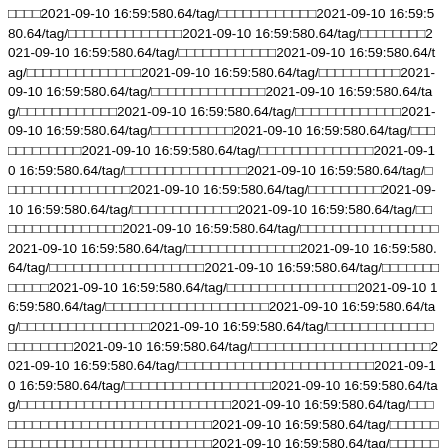□□□□2021-09-10 16:59:580.64/tag/□□□□□□□□□□□□2021-09-10 16:59:580.64/tag/□□□□□□□□□□□□□□2021-09-10 16:59:580.64/tag/□□□□□□□□2021-09-10 16:59:580.64/tag/□□□□□□□□□□2021-09-10 16:59:580.64/tag/□□□□□□□□□□□□□□2021-09-10 16:59:580.64/tag/□□□□□□□□□□2021-09-10 16:59:580.64/tag/□□□□□□□□□□□□□□2021-09-10 16:59:580.64/tag/□□□□□□□□□□□□2021-09-10 16:59:580.64/tag/□□□□□□□□□□□□2021-09-10 16:59:580.64/tag/□□□□□□□□□□2021-09-10 16:59:580.64/tag/□□□□□□□□□□□□2021-09-10 16:59:580.64/tag/□□□□□□□□□□□□□2021-09-10 16:59:580.64/tag/□□□□□□□□□□2021-09-10 16:59:580.64/tag/□□□□□□□□□□□□□□□2021-09-10 16:59:580.64/tag/□□□□□□□□□□□2021-09-10 16:59:580.64/tag/□□□□□□□□□□□□□□2021-09-10 16:59:580.64/tag/□□□□□□□□□□□□□2021-09-10 16:59:580.64/tag/□□□□□□□□□□□□□□□2021-09-10 16:59:580.64/tag/□□□□□□□□□2021-09-10 16:59:580.64/tag/□□□□□□□□□□□□2021-09-10 16:59:580.64/tag/□□□□□□□□□□□□□□2021-09-10 16:59:580.64/tag/□□□□□□□□□□□□2021-09-10 16:59:580.64/tag/□□□□□□□□□□□□□□□2021-09-10 16:59:580.64/tag/□□□□□□□□□□□□2021-09-10 16:59:580.64/tag/□□□□□□□□□□□□□□□2021-09-10 16:59:580.64/tag/□□□□□□□□□□2021-09-10 16:59:580.64/tag/□□□□□□□□□□□□□□□2021-09-10 16:59:580.64/tag/□□□□□□□□□□□□2021-09-10 16:59:580.64/tag/□□□□□□□□□□□□□□2021-09-10 16:59:580.64/tag/□□□□□□□□□□□□□□□2021-09-10 16:59:580.64/tag/□□□□□□□□□□□□□□□□2021-09-10 16:59:580.64/tag/□□□□□□□□□□□□□□□□□□2021-09-10 16:59:580.64/tag/□□□□□□□□□□□□□□2021-09-10